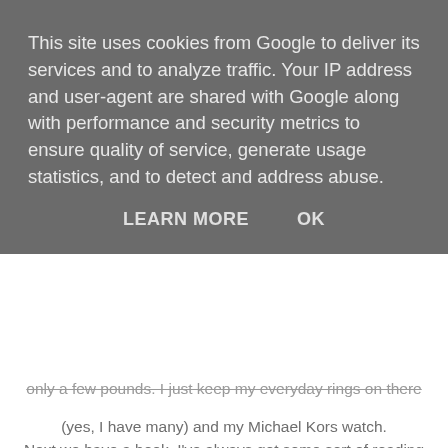This site uses cookies from Google to deliver its services and to analyze traffic. Your IP address and user-agent are shared with Google along with performance and security metrics to ensure quality of service, generate usage statistics, and to detect and address abuse.
LEARN MORE   OK
only a few pounds. I just keep my everyday rings on there (yes, I have many) and my Michael Kors watch. Next we have a book. I've always got some sort of reading material on my beside table since I'm a night reader, if it's not a book it's probably Vogue or Glamour. I'm currently re-reading I am Number Four, it's WAY better than the film. I've read it like four times already I enjoy it that much. To finish off is my candle. I always, ALWAYS have a candle on my bedside table. This one is a vanilla scented one from IKEA, vanilla is my favourite. I like to burn them in the evening to create a lovely atmosphere in my bedroom - and to smell it's deliciousness of course. The candle holder is also from IKEA. and the glass stand it's sitting on is from Matalan.